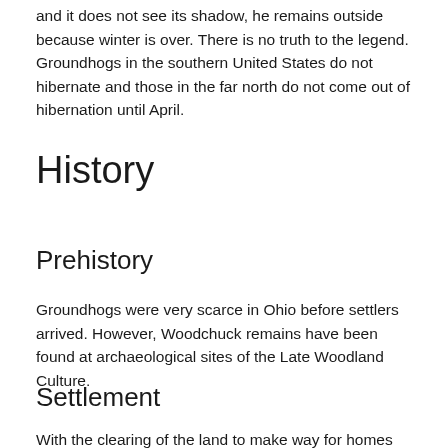and it does not see its shadow, he remains outside because winter is over. There is no truth to the legend. Groundhogs in the southern United States do not hibernate and those in the far north do not come out of hibernation until April.
History
Prehistory
Groundhogs were very scarce in Ohio before settlers arrived. However, Woodchuck remains have been found at archaeological sites of the Late Woodland Culture.
Settlement
With the clearing of the land to make way for homes and farms,